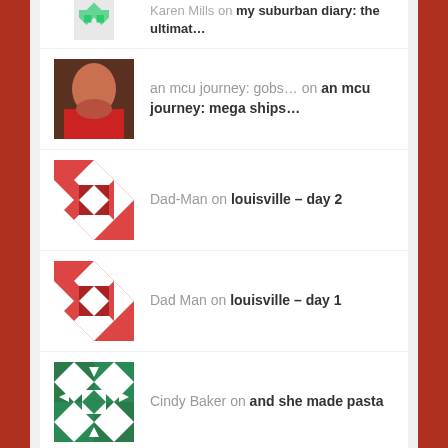an mcu journey: gobs... on an mcu journey: mega ships...
Dad-Man on louisville – day 2
Dad Man on louisville – day 1
Cindy Baker on and she made pasta
i need to find __
Search ...